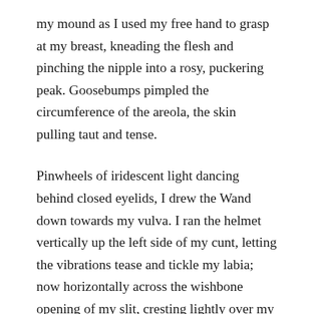my mound as I used my free hand to grasp at my breast, kneading the flesh and pinching the nipple into a rosy, puckering peak. Goosebumps pimpled the circumference of the areola, the skin pulling taut and tense.
Pinwheels of iridescent light dancing behind closed eyelids, I drew the Wand down towards my vulva. I ran the helmet vertically up the left side of my cunt, letting the vibrations tease and tickle my labia; now horizontally across the wishbone opening of my slit, cresting lightly over my swollen clitoris; now trailing down the glistening wet lips on the right-hand side of my drooling nether mouth. I felt the viscous liquid of my arousal bubbling like hot magma from my engorged cleft, and groaned.